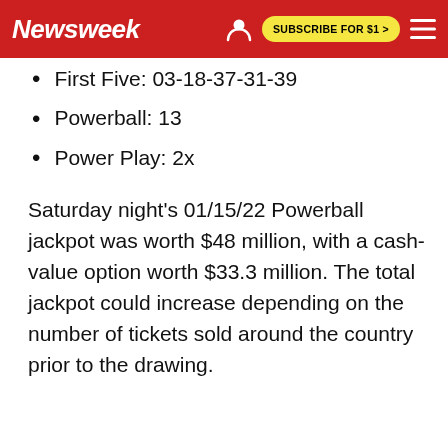Newsweek | SUBSCRIBE FOR $1 >
First Five: 03-18-37-31-39
Powerball: 13
Power Play: 2x
Saturday night's 01/15/22 Powerball jackpot was worth $48 million, with a cash-value option worth $33.3 million. The total jackpot could increase depending on the number of tickets sold around the country prior to the drawing.